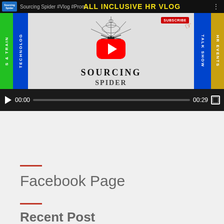[Figure (screenshot): Embedded YouTube video player showing 'Sourcing Spider #Vlog #Prom...' thumbnail with ALL INCLUSIVE HR VLOG banner, spider logo, play button, and video controls showing 00:00 / 00:29]
Facebook Page
Recent Post